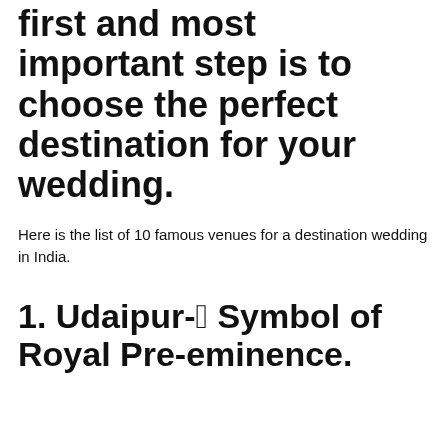first and most important step is to choose the perfect destination for your wedding.
Here is the list of 10 famous venues for a destination wedding in India.
1. Udaipur-“A Symbol of Royal Pre-eminence.